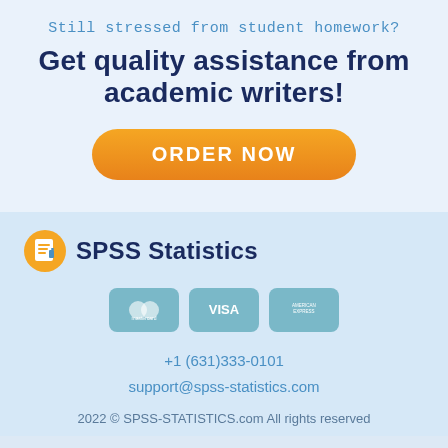Still stressed from student homework?
Get quality assistance from academic writers!
[Figure (other): Orange gradient 'ORDER NOW' button]
[Figure (logo): SPSS Statistics logo with orange document icon]
[Figure (other): Payment icons: Mastercard, Visa, American Express]
+1 (631)333-0101
support@spss-statistics.com
2022 © SPSS-STATISTICS.com All rights reserved